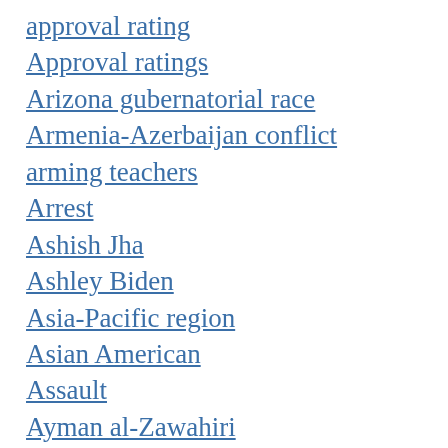approval rating
Approval ratings
Arizona gubernatorial race
Armenia-Azerbaijan conflict
arming teachers
Arrest
Ashish Jha
Ashley Biden
Asia-Pacific region
Asian American
Assault
Ayman al-Zawahiri
baby formula
baby formula shortage
Barack Obama